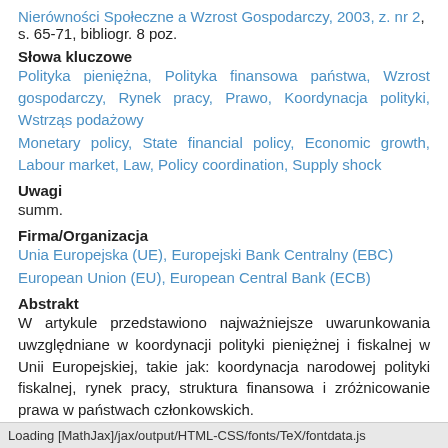Nierówności Społeczne a Wzrost Gospodarczy, 2003, z. nr 2, s. 65-71, bibliogr. 8 poz.
Słowa kluczowe
Polityka pieniężna, Polityka finansowa państwa, Wzrost gospodarczy, Rynek pracy, Prawo, Koordynacja polityki, Wstrząs podażowy
Monetary policy, State financial policy, Economic growth, Labour market, Law, Policy coordination, Supply shock
Uwagi
summ.
Firma/Organizacja
Unia Europejska (UE), Europejski Bank Centralny (EBC)
European Union (EU), European Central Bank (ECB)
Abstrakt
W artykule przedstawiono najważniejsze uwarunkowania uwzględniane w koordynacji polityki pieniężnej i fiskalnej w Unii Europejskiej, takie jak: koordynacja narodowej polityki fiskalnej, rynek pracy, struktura finansowa i zróżnicowanie prawa w państwach członkowskich.
Loading [MathJax]/jax/output/HTML-CSS/fonts/TeX/fontdata.js